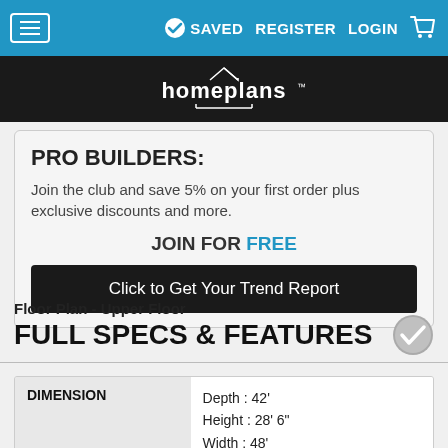≡   SAVED   REGISTER   LOGIN   🛒
[Figure (logo): homeplans logo in white on black background]
PRO BUILDERS:
Join the club and save 5% on your first order plus exclusive discounts and more.
JOIN FOR FREE
Click to Get Your Trend Report
Floor Plan - Upper Floor
FULL SPECS & FEATURES
| DIMENSION |  |
| --- | --- |
| DIMENSION | Depth : 42'
Height : 28' 6"
Width : 48' |